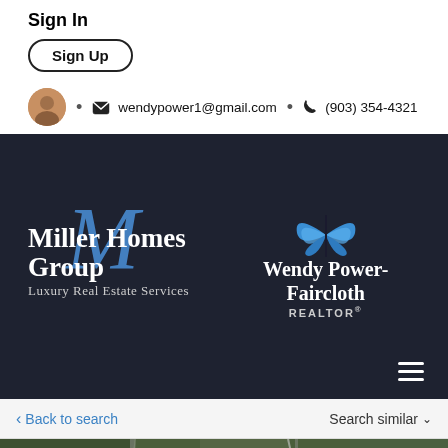Sign In
Sign Up
wendypower1@gmail.com • (903) 354-4321
[Figure (logo): Miller Homes Group Luxury Real Estate Services / Wendy Power-Faircloth REALTOR® dark banner with blue M monogram and butterfly logo]
Back to search
Search similar
[Figure (map): Aerial satellite map view]